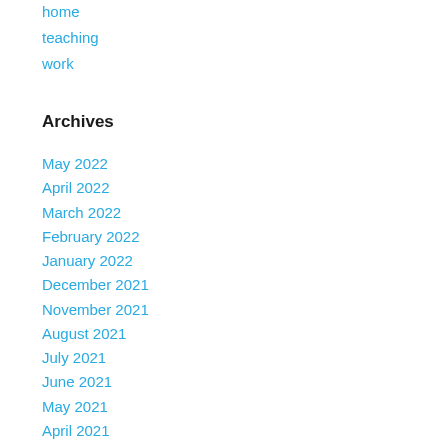home
teaching
work
Archives
May 2022
April 2022
March 2022
February 2022
January 2022
December 2021
November 2021
August 2021
July 2021
June 2021
May 2021
April 2021
March 2021
February 2021
January 2021